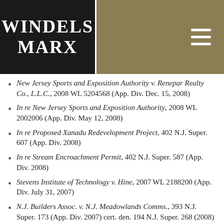WINDELS MARX
New Jersey Sports and Exposition Authority v. Renepar Realty Co., L.L.C., 2008 WL 5204568 (App. Div. Dec. 15, 2008)
In re New Jersey Sports and Exposition Authority, 2008 WL 2002006 (App. Div. May 12, 2008)
In re Proposed Xanadu Redevelopment Project, 402 N.J. Super. 607 (App. Div. 2008)
In re Stream Encroachment Permit, 402 N.J. Super. 587 (App. Div. 2008)
Stevens Institute of Technology v. Hine, 2007 WL 2188200 (App. Div. July 31, 2007)
N.J. Builders Assoc. v. N.J. Meadowlands Comms., 393 N.J. Super. 173 (App. Div. 2007) cert. den. 194 N.J. Super. 268 (2008)
In re Determination by Director of Div. Of Alcoholic Beverage Control that Xanadu Redevelopment…